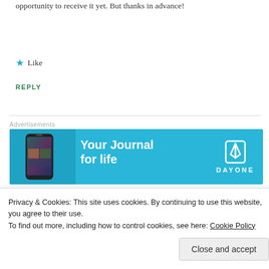opportunity to receive it yet. But thanks in advance!
★ Like
REPLY
[Figure (illustration): Advertisement banner for Day One journal app. Blue background with phone mockup on left showing app screenshots, text 'Your Journal for life' in white bold font, and Day One logo (bookmark icon) with 'DAYONE' text on right.]
Teddy
Privacy & Cookies: This site uses cookies. By continuing to use this website, you agree to their use.
To find out more, including how to control cookies, see here: Cookie Policy
Close and accept